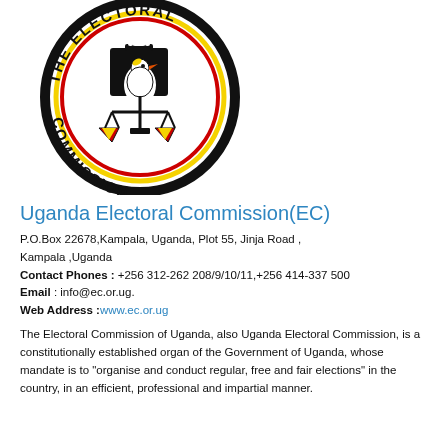[Figure (logo): Uganda Electoral Commission circular logo featuring a ballot box with a hand, a crane bird, scales of justice, with black, red, yellow, and white colors, and the text 'THE ELECTORAL COMMISSION' around the circle.]
Uganda Electoral Commission(EC)
P.O.Box 22678,Kampala, Uganda, Plot 55, Jinja Road , Kampala ,Uganda
Contact Phones : +256 312-262 208/9/10/11,+256 414-337 500
Email : info@ec.or.ug.
Web Address :www.ec.or.ug
The Electoral Commission of Uganda, also Uganda Electoral Commission, is a constitutionally established organ of the Government of Uganda, whose mandate is to "organise and conduct regular, free and fair elections" in the country, in an efficient, professional and impartial manner.